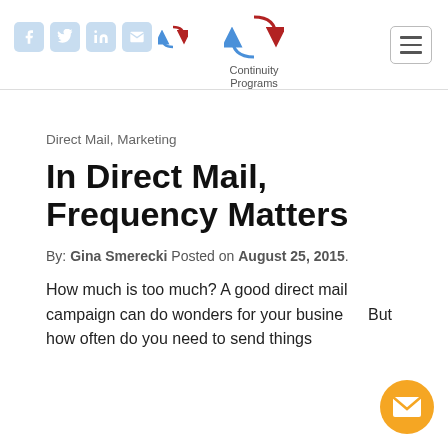Continuity Programs [logo with social icons and hamburger menu]
Direct Mail, Marketing
In Direct Mail, Frequency Matters
By: Gina Smerecki Posted on August 25, 2015.
How much is too much? A good direct mail campaign can do wonders for your busine... But how often do you need to send things